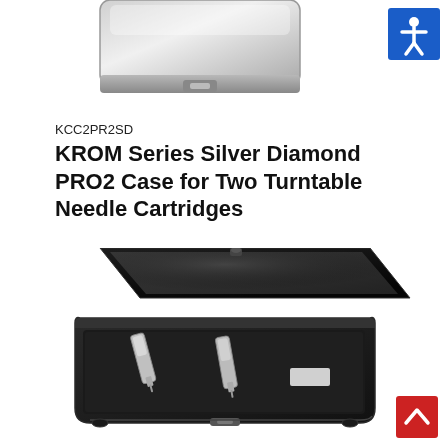[Figure (photo): Partial top view of a silver/metallic case, cropped at the top of the page]
[Figure (illustration): Accessibility icon on blue square background, top-right corner]
KCC2PR2SD
KROM Series Silver Diamond PRO2 Case for Two Turntable Needle Cartridges
[Figure (photo): Open black hard case (KROM Series PRO2) with foam interior and two turntable needle cartridges inside, photographed at an angle]
[Figure (illustration): Scroll-to-top arrow button on red square background, bottom-right corner]